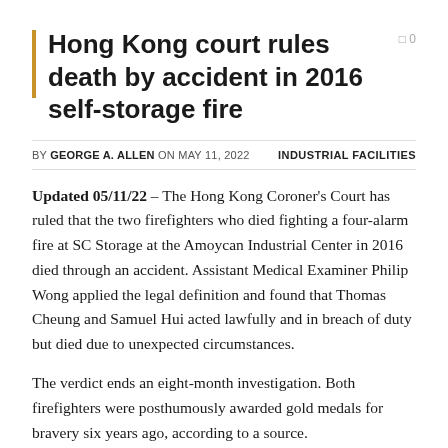Hong Kong court rules death by accident in 2016 self-storage fire
BY GEORGE A. ALLEN ON MAY 11, 2022    INDUSTRIAL FACILITIES
Updated 05/11/22 – The Hong Kong Coroner's Court has ruled that the two firefighters who died fighting a four-alarm fire at SC Storage at the Amoycan Industrial Center in 2016 died through an accident. Assistant Medical Examiner Philip Wong applied the legal definition and found that Thomas Cheung and Samuel Hui acted lawfully and in breach of duty but died due to unexpected circumstances.
The verdict ends an eight-month investigation. Both firefighters were posthumously awarded gold medals for bravery six years ago, according to a source.